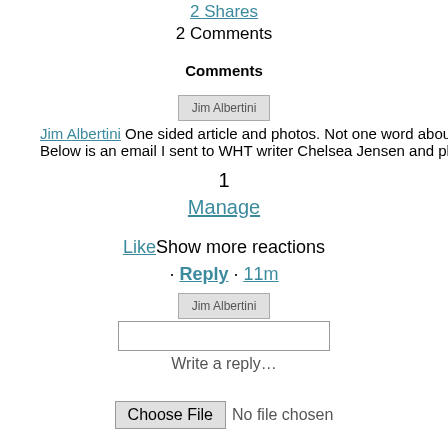2 Shares
2 Comments
Comments
[Figure (other): Jim Albertini avatar image placeholder]
Jim Albertini One sided article and photos. Not one word about5 the p... Below is an email I sent to WHT writer Chelsea Jensen and photo...
1
Manage
Like · Show more reactions
· Reply · 11m
[Figure (other): Jim Albertini avatar image placeholder]
Write a reply…
Choose File  No file chosen